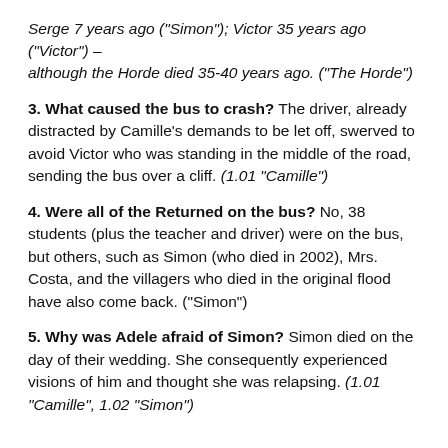Serge 7 years ago ("Simon"); Victor 35 years ago ("Victor") – although the Horde died 35-40 years ago. ("The Horde")
3. What caused the bus to crash? The driver, already distracted by Camille's demands to be let off, swerved to avoid Victor who was standing in the middle of the road, sending the bus over a cliff. (1.01 "Camille")
4. Were all of the Returned on the bus? No, 38 students (plus the teacher and driver) were on the bus, but others, such as Simon (who died in 2002), Mrs. Costa, and the villagers who died in the original flood have also come back. ("Simon")
5. Why was Adele afraid of Simon? Simon died on the day of their wedding. She consequently experienced visions of him and thought she was relapsing. (1.01 "Camille", 1.02 "Simon")